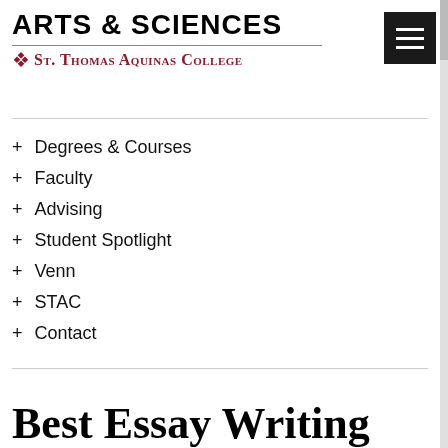ARTS & SCIENCES — St. Thomas Aquinas College
+ Degrees & Courses
+ Faculty
+ Advising
+ Student Spotlight
+ Venn
+ STAC
+ Contact
Best Essay Writing